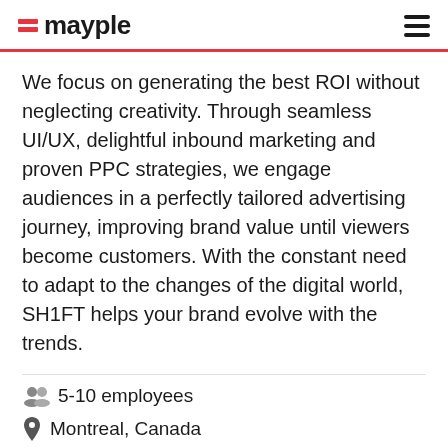mayple
We focus on generating the best ROI without neglecting creativity. Through seamless UI/UX, delightful inbound marketing and proven PPC strategies, we engage audiences in a perfectly tailored advertising journey, improving brand value until viewers become customers. With the constant need to adapt to the changes of the digital world, SH1FT helps your brand evolve with the trends.
5-10 employees
Montreal, Canada
Talk to an expert